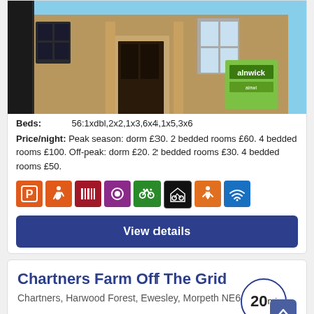[Figure (photo): Exterior photo of a stone building, angled upward shot, with an Alnwick hostel sign visible. Blue sky in background.]
Beds: 56:1xdbl,2x2,1x3,6x4,1x5,3x6
Price/night: Peak season: dorm £30. 2 bedded rooms £60. 4 bedded rooms £100. Off-peak: dorm £20. 2 bedded rooms £30. 4 bedded rooms £50.
[Figure (infographic): Row of amenity icons: parking (orange), accessibility (orange), barcode/lockers (dark red), meals (purple), bike (green), cycle storage (black/white), accessible person (orange), wifi (blue)]
View details
Chartners Farm Off The Grid
Chartners, Harwood Forest, Ewesley, Morpeth NE61 4LJ
20mi